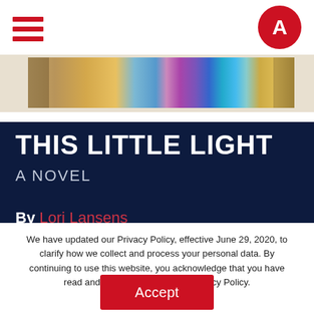[Figure (logo): Hamburger menu icon with three red horizontal lines]
[Figure (logo): Red circle with white letter A logo]
[Figure (illustration): Colorful artwork strip showing a spectrum of colors including gold, blue, pink, purple on a tan background]
THIS LITTLE LIGHT
A NOVEL
By Lori Lansens
We have updated our Privacy Policy, effective June 29, 2020, to clarify how we collect and process your personal data. By continuing to use this website, you acknowledge that you have read and agree to the updated Privacy Policy. Read More
Accept